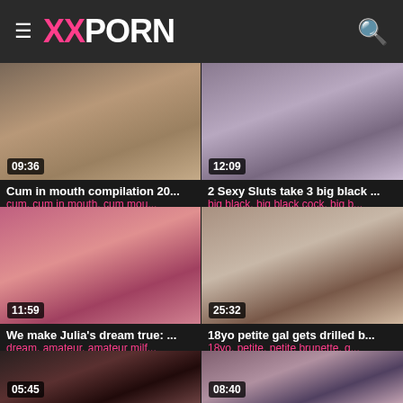XXPORN
[Figure (screenshot): Video thumbnail 1, duration 09:36]
Cum in mouth compilation 20...
cum, cum in mouth, cum mou...
[Figure (screenshot): Video thumbnail 2, duration 12:09]
2 Sexy Sluts take 3 big black ...
big black, big black cock, big b...
[Figure (screenshot): Video thumbnail 3, duration 11:59]
We make Julia's dream true: ...
dream, amateur, amateur milf...
[Figure (screenshot): Video thumbnail 4, duration 25:32]
18yo petite gal gets drilled b...
18yo, petite, petite brunette, g...
[Figure (screenshot): Video thumbnail 5, duration 05:45]
[Figure (screenshot): Video thumbnail 6, duration 08:40]